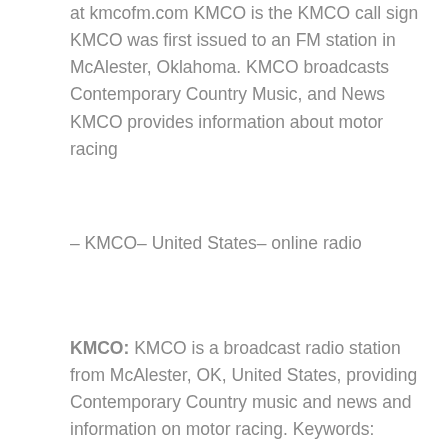at kmcofm.com KMCO is the KMCO call sign KMCO was first issued to an FM station in McAlester, Oklahoma. KMCO broadcasts Contemporary Country Music, and News KMCO provides information about motor racing
– KMCO– United States– online radio
KMCO: KMCO is a broadcast radio station from McAlester, OK, United States, providing Contemporary Country music and news and information on motor racing. Keywords:
[Figure (logo): KMCO K101.3 FM radio station logo — teal/green background with red K101.3 FM text]
KMCO